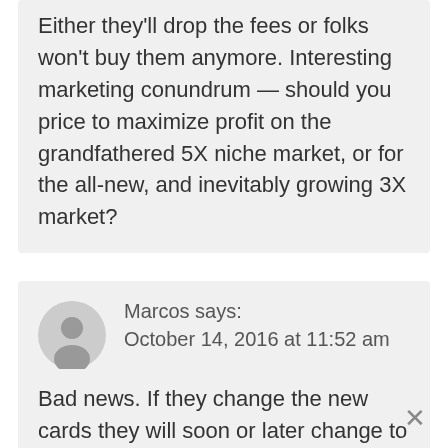Either they'll drop the fees or folks won't buy them anymore. Interesting marketing conundrum — should you price to maximize profit on the grandfathered 5X niche market, or for the all-new, and inevitably growing 3X market?
Marcos says: October 14, 2016 at 11:52 am
Bad news. If they change the new cards they will soon or later change to the old cards.